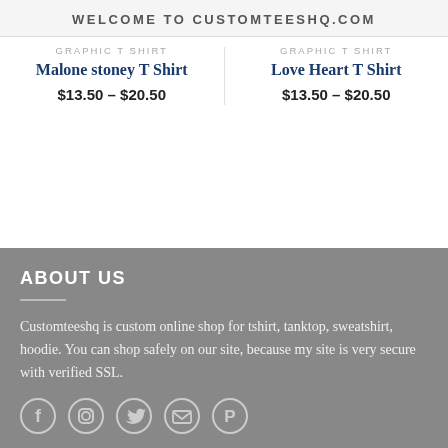WELCOME TO CUSTOMTEESHQ.COM
GRAPHIC T SHIRT
Malone stoney T Shirt
$13.50 – $20.50
GRAPHIC T SHIRT
Love Heart T Shirt
$13.50 – $20.50
ABOUT US
Customteeshq is custom online shop for tshirt, tanktop, sweatshirt, hoodie. You can shop safely on our site, because my site is very secure with verified SSL.